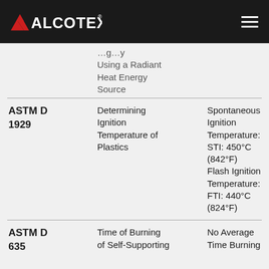ALCOTEX
| Standard | Description | Result |
| --- | --- | --- |
|  | Using a Radiant Heat Energy Source |  |
| ASTM D 1929 | Determining Ignition Temperature of Plastics | Spontaneous Ignition Temperature: STI: 450°C (842°F) Flash Ignition Temperature: FTI: 440°C (824°F) |
| ASTM D 635 | Time of Burning of Self-Supporting | No Average Time Burning |